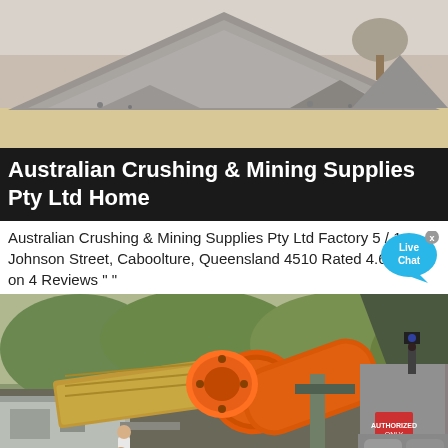[Figure (photo): Outdoor photo of a large pile of crushed gravel/aggregate material with sandy ground and a tree visible in the background]
Australian Crushing & Mining Supplies Pty Ltd Home
Australian Crushing & Mining Supplies Pty Ltd Factory 5 / 1 Johnson Street, Caboolture, Queensland 4510 Rated 4.6 based on 4 Reviews " "
[Figure (photo): Aerial/elevated view of a mining facility with a large orange cylindrical ball mill drum, conveyor equipment, grey buildings, workers visible below, bags of material, and green forested hills in the background]